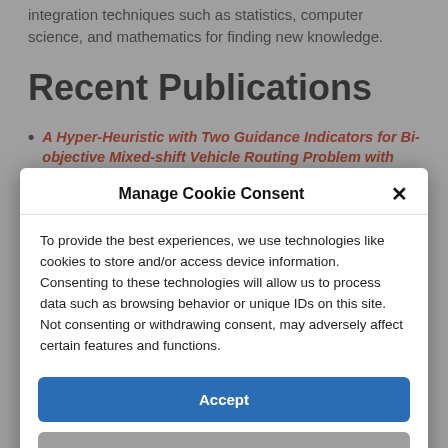integration techniques such as statistics, computer science, and mathematics for finding new knowledge.
Recent Publications
A Hyper-Heuristic with Two Guidance Indicators for Bi-objective Mixed-shift Vehicle Routing Problem with Time
Manage Cookie Consent
To provide the best experiences, we use technologies like cookies to store and/or access device information. Consenting to these technologies will allow us to process data such as browsing behavior or unique IDs on this site. Not consenting or withdrawing consent, may adversely affect certain features and functions.
Accept
View preferences